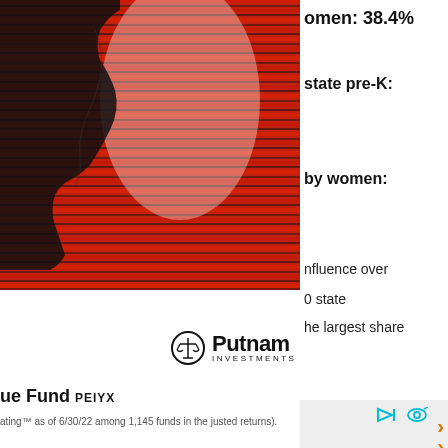[Figure (illustration): Abstract red and black layered silhouette illustration of a woman's profile, with dynamic horizontal red streaks and light effects, occupying the top-left portion of the page.]
omen: 38.4%
state pre-K:
by women:
influence over
0 state
he largest share
[Figure (logo): Putnam Investments logo: a circle with a balance/scales icon, bold 'Putnam' text, and 'INVESTMENTS' in small caps below.]
ue Fund PEIYX
ating™ as of 6/30/22 among 1,145 funds in the justed returns).